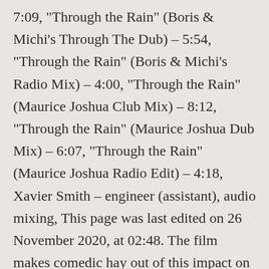7:09, "Through the Rain" (Boris & Michi's Through The Dub) – 5:54, "Through the Rain" (Boris & Michi's Radio Mix) – 4:00, "Through the Rain" (Maurice Joshua Club Mix) – 8:12, "Through the Rain" (Maurice Joshua Dub Mix) – 6:07, "Through the Rain" (Maurice Joshua Radio Edit) – 4:18, Xavier Smith – engineer (assistant), audio mixing, This page was last edited on 26 November 2020, at 02:48. The film makes comedic hay out of this impact on careers through the story of Lina Lamont's gross incapabilities as a talker. [36] On November 11, 2002, "Through the Rain" debuted at number forty-eight on the Ö3 Austria Top 40 chart. [54] During the album's month of release, Carey